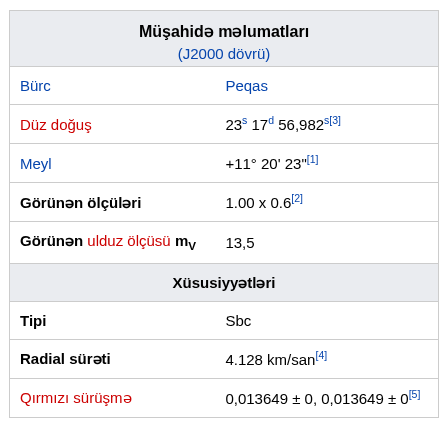| Property | Value |
| --- | --- |
| Müşahidə məlumatları (J2000 dövrü) |  |
| Bürc | Peqas |
| Düz doğuş | 23s 17d 56,982s[3] |
| Meyl | +11° 20' 23"[1] |
| Görünən ölçüləri | 1.00 x 0.6[2] |
| Görünən ulduz ölçüsü mv | 13,5 |
| Xüsusiyyətləri |  |
| Tipi | Sbc |
| Radial sürəti | 4.128 km/san[4] |
| Qırmızı sürüşmə | 0,013649 ± 0, 0,013649 ± 0[5] |